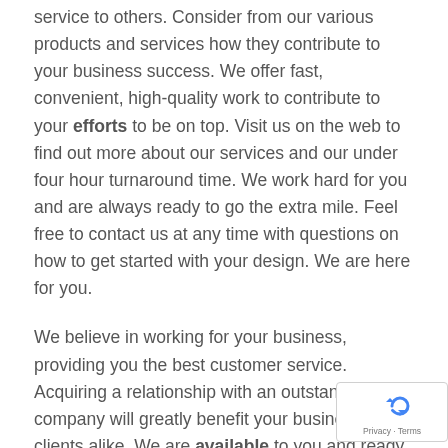service to others. Consider from our various products and services how they contribute to your business success. We offer fast, convenient, high-quality work to contribute to your efforts to be on top. Visit us on the web to find out more about our services and our under four hour turnaround time. We work hard for you and are always ready to go the extra mile. Feel free to contact us at any time with questions on how to get started with your design. We are here for you.
We believe in working for your business, providing you the best customer service. Acquiring a relationship with an outstanding print company will greatly benefit your business and clients alike. We are available to you and ready to work on your next graphics idea. We are located in Ashland, VA working hard at maintaining a level of expertise as we walk with our clients to improve their marketing efforts. As it grows, your business will need